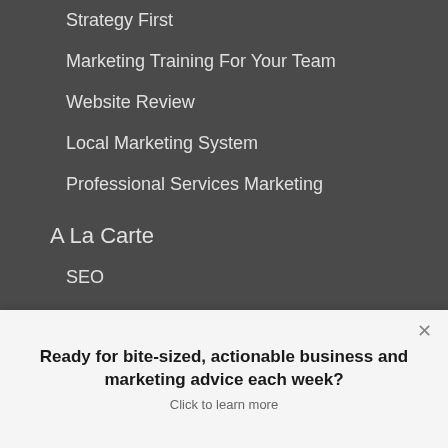Strategy First
Marketing Training For Your Team
Website Review
Local Marketing System
Professional Services Marketing
A La Carte
SEO
Websites
Pay Per Click
Guides
Local Marketing
Ready for bite-sized, actionable business and marketing advice each week?
Click to learn more